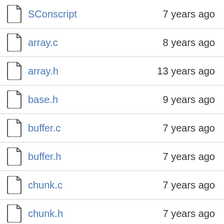| filename | age |
| --- | --- |
| SConscript | 7 years ago |
| array.c | 8 years ago |
| array.h | 13 years ago |
| base.h | 9 years ago |
| buffer.c | 7 years ago |
| buffer.h | 7 years ago |
| chunk.c | 7 years ago |
| chunk.h | 7 years ago |
| config.h.cmake | 7 years ago |
| configfile-glue.c | 7 years ago |